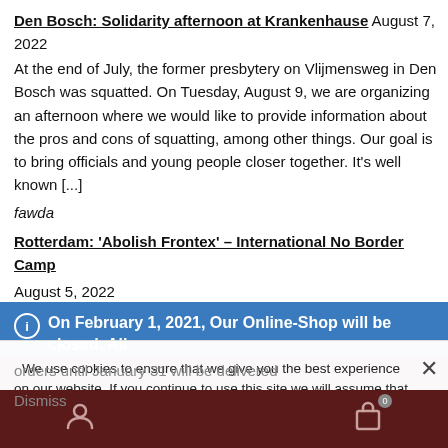Den Bosch: Solidarity afternoon at Krankenhause August 7, 2022
At the end of July, the former presbytery on Vlijmensweg in Den Bosch was squatted. On Tuesday, August 9, we are organizing an afternoon where we would like to provide information about the pros and cons of squatting, among other things. Our goal is to bring officials and young people closer together. It’s well known [...]
fawda
Rotterdam: ‘Abolish Frontex’ – International No Border Camp
August 5, 2022
The No Border Camp will take place in Rotterdam! We will start on Monday morning the 8th of august at 10:00 by building up the camp.
On February 1, 2021, Our Online-Shop will be closed. All orders until January 31 will be delivered
Dismiss
We use cookies to ensure that we give you the best experience on our website. If you continue to use this site we will assume that you are happy with it.
Ok